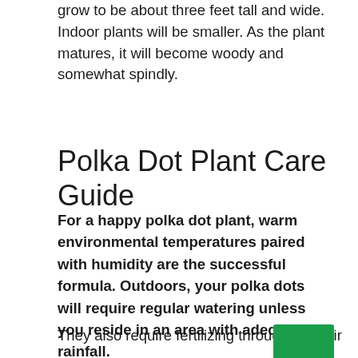grow to be about three feet tall and wide. Indoor plants will be smaller. As the plant matures, it will become woody and somewhat spindly.
Polka Dot Plant Care Guide
For a happy polka dot plant, warm environmental temperatures paired with humidity are the successful formula. Outdoors, your polka dots will require regular watering unless you reside in an area with adequate rainfall.
They also require fertilizing throughout their